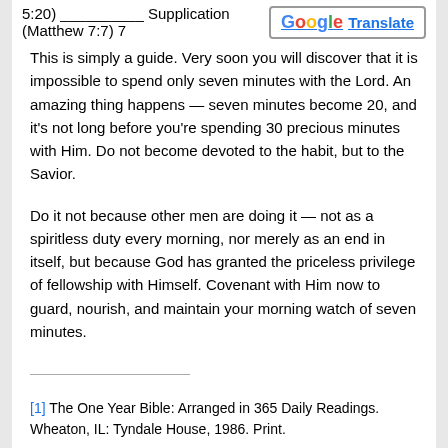5:20) __________ Supplication (Matthew 7:7) 7
This is simply a guide. Very soon you will discover that it is impossible to spend only seven minutes with the Lord. An amazing thing happens — seven minutes become 20, and it's not long before you're spending 30 precious minutes with Him. Do not become devoted to the habit, but to the Savior.
Do it not because other men are doing it — not as a spiritless duty every morning, nor merely as an end in itself, but because God has granted the priceless privilege of fellowship with Himself. Covenant with Him now to guard, nourish, and maintain your morning watch of seven minutes.
[1] The One Year Bible: Arranged in 365 Daily Readings. Wheaton, IL: Tyndale House, 1986. Print.